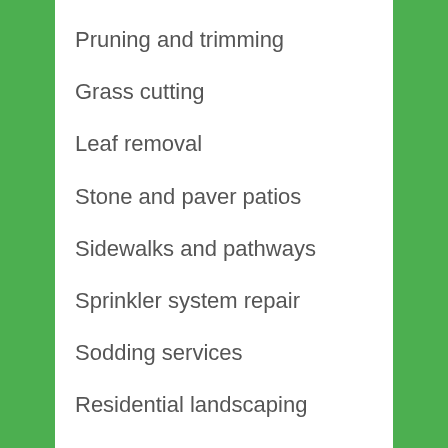Pruning and trimming
Grass cutting
Leaf removal
Stone and paver patios
Sidewalks and pathways
Sprinkler system repair
Sodding services
Residential landscaping